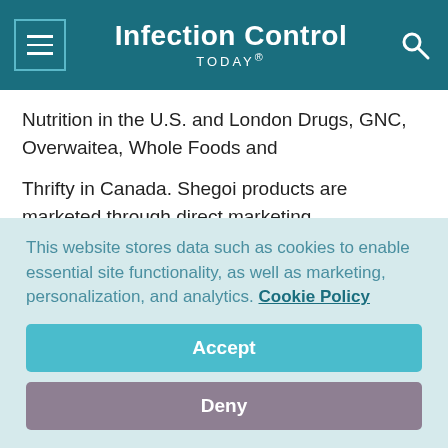Infection Control TODAY®
Nutrition in the U.S. and London Drugs, GNC, Overwaitea, Whole Foods and
Thrifty in Canada. Shegoi products are marketed through direct marketing
channels.
The four GBI patents (U.S. patents 5,837,252; 5,945,106;
This website stores data such as cookies to enable essential site functionality, as well as marketing, personalization, and analytics. Cookie Policy
Accept
Deny